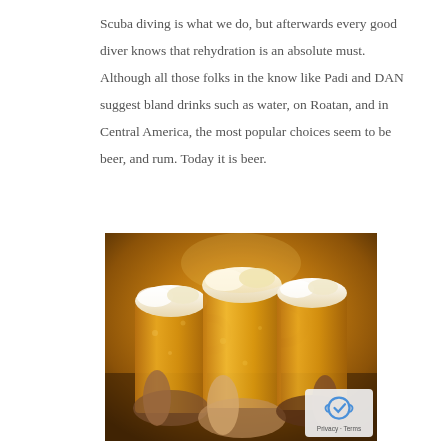Scuba diving is what we do, but afterwards every good diver knows that rehydration is an absolute must. Although all those folks in the know like Padi and DAN suggest bland drinks such as water, on Roatan, and in Central America, the most popular choices seem to be beer, and rum. Today it is beer.
[Figure (photo): Three people clinking beer mugs together in a toast, with golden amber beer and foamy heads visible, warm amber background lighting]